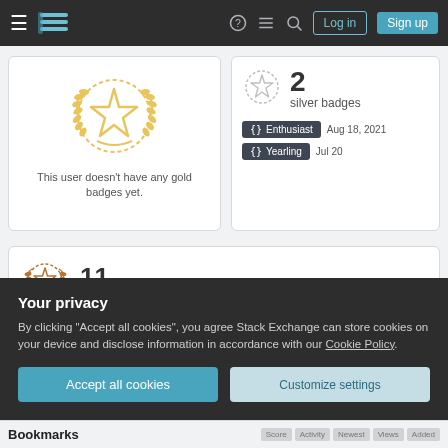Stack Exchange navigation bar with Log in and Sign up buttons
[Figure (illustration): Gold badge laurel wreath icon]
This user doesn't have any gold badges yet.
[Figure (illustration): Silver badge icon]
2 silver badges
Enthusiast  Aug 18, 2021
Yearling  Jul 20
[Figure (illustration): Bronze badge icon]
11 bronze badges
Your privacy
By clicking "Accept all cookies", you agree Stack Exchange can store cookies on your device and disclose information in accordance with our Cookie Policy.
Accept all cookies
Customize settings
Bookmarks  Score  Activity  Newest  Views  Added